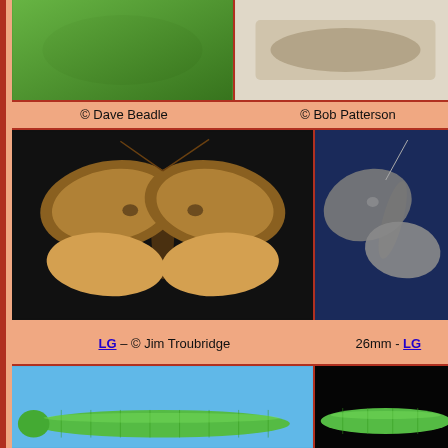[Figure (photo): Close-up photo of a moth or insect on a green leaf background, top-left of page]
© Dave Beadle
[Figure (photo): Close-up photo of a moth or larva on a white/light background, top-right of page]
© Bob Patterson
[Figure (photo): Brown and tan patterned moth with wings spread, viewed from above, on dark background – LG – © Jim Troubridge]
LG – © Jim Troubridge
[Figure (photo): Grey moth specimen on blue background, partially visible, 26mm - LG]
26mm - LG
[Figure (photo): Green caterpillar/larva on blue background, bottom-left]
[Figure (photo): Green caterpillar/larva on black background, bottom-right, partially visible]